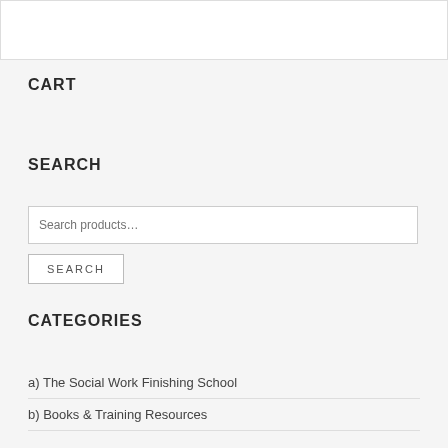CART
SEARCH
Search products…
SEARCH
CATEGORIES
a) The Social Work Finishing School
b) Books & Training Resources